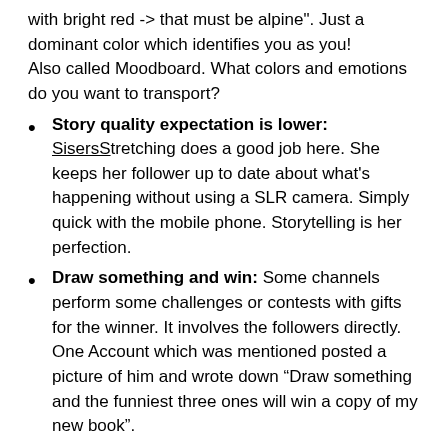with bright red -> that must be alpine". Just a dominant color which identifies you as you!
Also called Moodboard. What colors and emotions do you want to transport?
Story quality expectation is lower: SisersStretching does a good job here. She keeps her follower up to date about what's happening without using a SLR camera. Simply quick with the mobile phone. Storytelling is her perfection.
Draw something and win: Some channels perform some challenges or contests with gifts for the winner. It involves the followers directly. One Account which was mentioned posted a picture of him and wrote down "Draw something and the funniest three ones will win a copy of my new book".
Define a persona: Age, behavior, income etc. Know your target and your posts will they'll respond better. If you don't know whom to address, you don't address